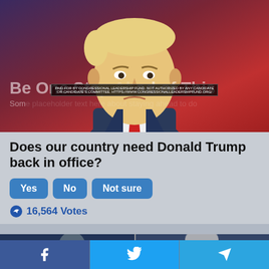[Figure (photo): Donald Trump photo with red/purple background overlay. Text overlay reads 'Be One Ste... ...d of This' and a paid-for disclaimer banner.]
Does our country need Donald Trump back in office?
Yes   No   Not sure
16,564 Votes
[Figure (photo): Two partial photos side by side at bottom of page]
Facebook   Twitter   Telegram social share buttons